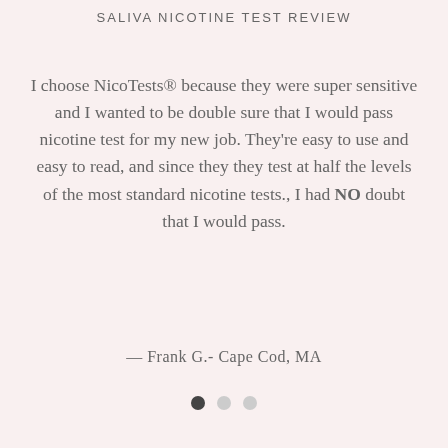SALIVA NICOTINE TEST REVIEW
I choose NicoTests® because they were super sensitive and I wanted to be double sure that I would pass nicotine test for my new job. They're easy to use and easy to read, and since they they test at half the levels of the most standard nicotine tests., I had NO doubt that I would pass.
— Frank G.- Cape Cod, MA